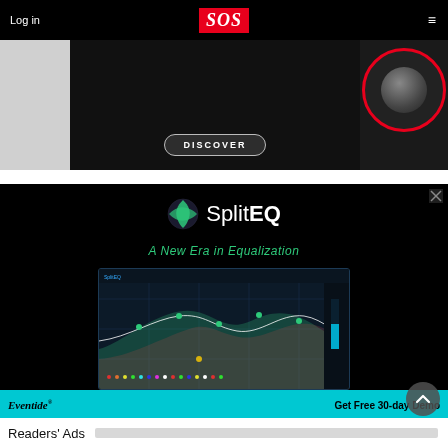Log in | SOS | ≡
[Figure (photo): Top advertisement banner showing a speaker/monitor with a DISCOVER button on dark background]
[Figure (screenshot): SplitEQ advertisement by Eventide. Shows SplitEQ logo with green sphere icon, tagline 'A New Era in Equalization', EQ plugin UI screenshot, and cyan bar at bottom reading 'Eventide' and 'Get Free 30-day Demo']
Readers' Ads